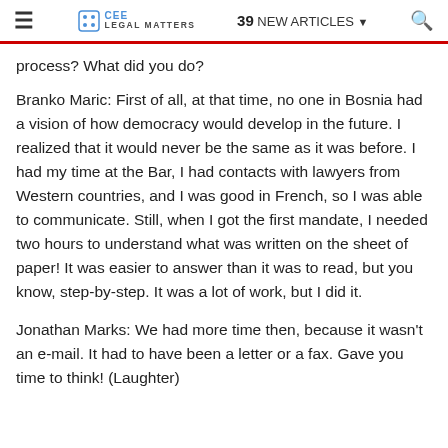CEE Legal Matters — 39 NEW ARTICLES
process? What did you do?
Branko Maric: First of all, at that time, no one in Bosnia had a vision of how democracy would develop in the future. I realized that it would never be the same as it was before. I had my time at the Bar, I had contacts with lawyers from Western countries, and I was good in French, so I was able to communicate. Still, when I got the first mandate, I needed two hours to understand what was written on the sheet of paper! It was easier to answer than it was to read, but you know, step-by-step. It was a lot of work, but I did it.
Jonathan Marks: We had more time then, because it wasn't an e-mail. It had to have been a letter or a fax. Gave you time to think! (Laughter)